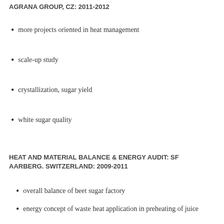AGRANA GROUP, CZ: 2011-2012
more projects oriented in heat management
scale-up study
crystallization, sugar yield
white sugar quality
HEAT AND MATERIAL BALANCE & ENERGY AUDIT: SF AARBERG. SWITZERLAND: 2009-2011
overall balance of beet sugar factory
energy concept of waste heat application in preheating of juice